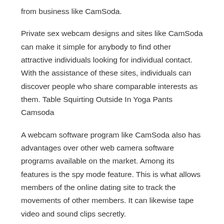from business like CamSoda.
Private sex webcam designs and sites like CamSoda can make it simple for anybody to find other attractive individuals looking for individual contact. With the assistance of these sites, individuals can discover people who share comparable interests as them. Table Squirting Outside In Yoga Pants Camsoda
A webcam software program like CamSoda also has advantages over other web camera software programs available on the market. Among its features is the spy mode feature. This is what allows members of the online dating site to track the movements of other members. It can likewise tape video and sound clips secretly.
The innovation used by webcam websites has actually permitted individuals to create an even more interesting and intimate relationship with their partners. Some cam models also discover it simpler to draw in more people by using their natural beauty and